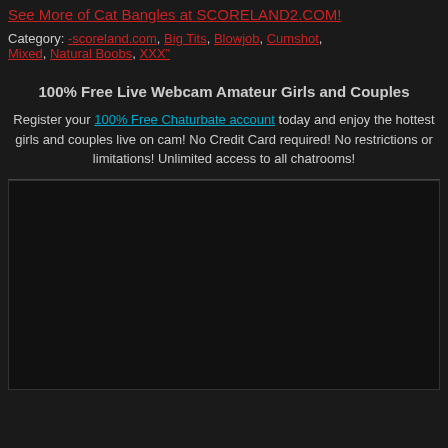See More of Cat Bangles at SCORELAND2.COM!
Category: -scoreland.com, Big Tits, Blowjob, Cumshot, Mixed, Natural Boobs, XXX"
100% Free Live Webcam Amateur Girls and Couples
Register your 100% Free Chaturbate account today and enjoy the hottest girls and couples live on cam! No Credit Card required! No restrictions or limitations! Unlimited access to all chatrooms!
[Figure (other): Dark image/video placeholder area]